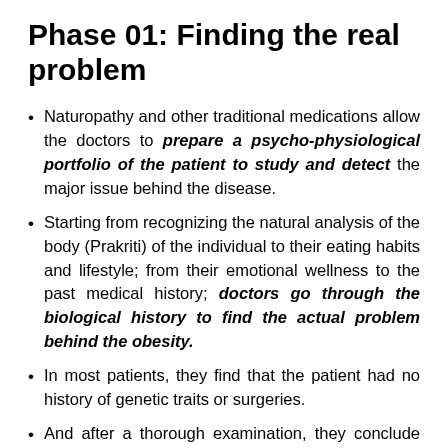Phase 01: Finding the real problem
Naturopathy and other traditional medications allow the doctors to prepare a psycho-physiological portfolio of the patient to study and detect the major issue behind the disease.
Starting from recognizing the natural analysis of the body (Prakriti) of the individual to their eating habits and lifestyle; from their emotional wellness to the past medical history; doctors go through the biological history to find the actual problem behind the obesity.
In most patients, they find that the patient had no history of genetic traits or surgeries.
And after a thorough examination, they conclude that